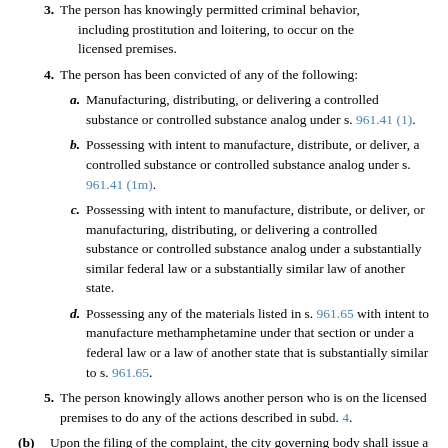3. The person has knowingly permitted criminal behavior, including prostitution and loitering, to occur on the licensed premises.
4. The person has been convicted of any of the following:
a. Manufacturing, distributing, or delivering a controlled substance or controlled substance analog under s. 961.41 (1).
b. Possessing with intent to manufacture, distribute, or deliver, a controlled substance or controlled substance analog under s. 961.41 (1m).
c. Possessing with intent to manufacture, distribute, or deliver, or manufacturing, distributing, or delivering a controlled substance or controlled substance analog under a substantially similar federal law or a substantially similar law of another state.
d. Possessing any of the materials listed in s. 961.65 with intent to manufacture methamphetamine under that section or under a federal law or a law of another state that is substantially similar to s. 961.65.
5. The person knowingly allows another person who is on the licensed premises to do any of the actions described in subd. 4.
(b) Upon the filing of the complaint, the city governing body shall issue a summons, signed by the clerk and directed to any peace officer in the city. The summons shall comm…